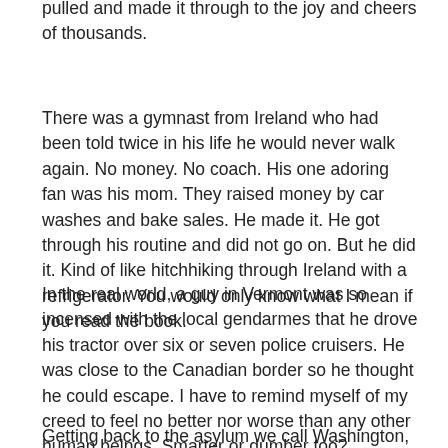pulled and made it through to the joy and cheers of thousands.
There was a gymnast from Ireland who had been told twice in his life he would never walk again. No money. No coach. His one adoring fan was his mom. They raised money by car washes and bake sales. He made it. He got through his routine and did not go on. But he did it. Kind of like hitchhiking through Ireland with a refrigerator. You would only know what I mean if you read the book.
In the real world, a guy in Vermont was so incensed with the local gendarmes that he drove his tractor over six or seven police cruisers. He was close to the Canadian border so he thought he could escape. I have to remind myself of my creed to feel no better nor worse than any other human beings. Smarter or dumber too?
Getting back to the asylum we call Washington, how